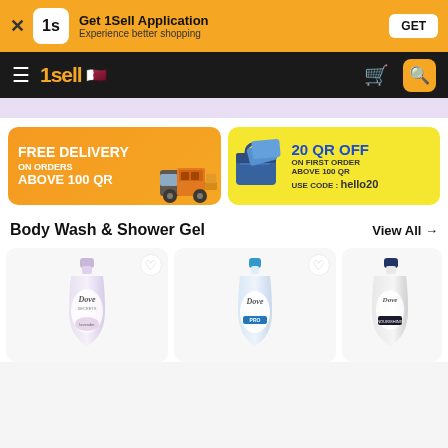Get 1Sell Application – Experience better shopping | GET
1sell [Qatar flag] [cart] [search]
[Figure (infographic): Purple banner strip]
[Figure (infographic): Free delivery on orders above 100 QR promotional banner (orange)]
[Figure (infographic): 20 QR OFF on first order above 100 QR – Use code: hello20 (yellow)]
Body Wash & Shower Gel   View All →
[Figure (photo): Dove Secrets body wash bottle (lavender/purple)]
[Figure (photo): Dove Pro body wash bottle (blue cap)]
[Figure (photo): Dove body wash bottle (dark/nourishing, partially visible)]